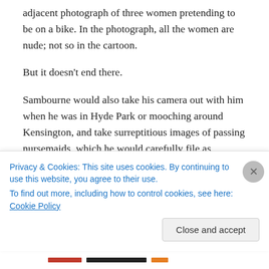adjacent photograph of three women pretending to be on a bike. In the photograph, all the women are nude; not so in the cartoon.
But it doesn't end there.
Sambourne would also take his camera out with him when he was in Hyde Park or mooching around Kensington, and take surreptitious images of passing nursemaids, which he would carefully file as 'Zoological Studies'. He even purchased a special camera with a secret lens that took pictures at right-angles so his subjects would be
Privacy & Cookies: This site uses cookies. By continuing to use this website, you agree to their use.
To find out more, including how to control cookies, see here: Cookie Policy